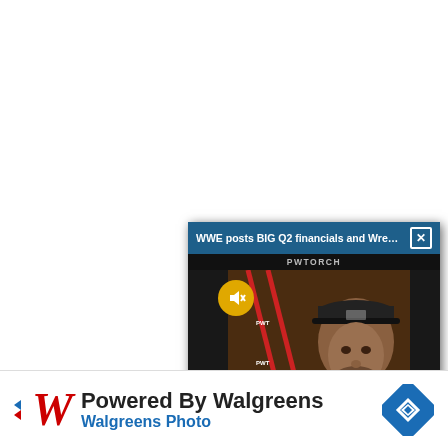[Figure (screenshot): A floating video player popup showing 'WWE posts BIG Q2 financials and Wrestl...' with PWTORCH branding. The video shows a man (Zack Heydon @zheydomtorch) in front of a wrestling ring. A yellow mute button is visible. Below is a NEWSWIRE label in red.]
[Figure (screenshot): Advertisement banner: Powered By Walgreens / Walgreens Photo with Walgreens red W logo and blue diamond navigation icon.]